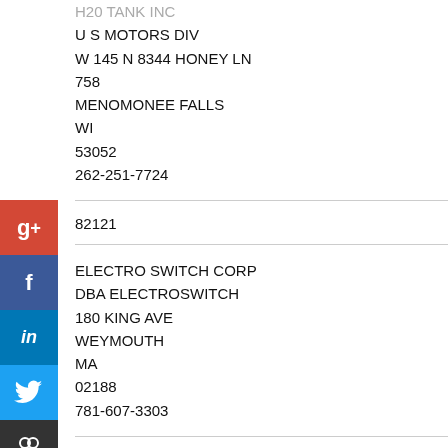H20 TANK INC
U S MOTORS DIV
W 145 N 8344 HONEY LN
758
MENOMONEE FALLS
WI
53052
262-251-7724
82121
ELECTRO SWITCH CORP
DBA ELECTROSWITCH
180 KING AVE
WEYMOUTH
MA
02188
781-607-3303
82121